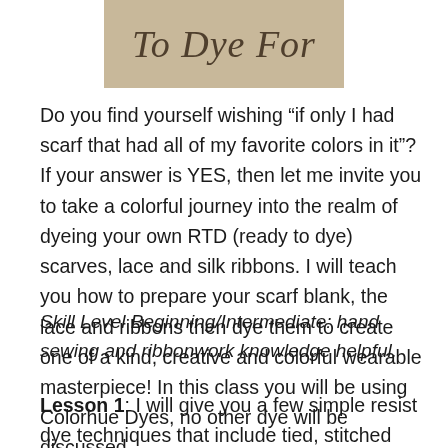[Figure (photo): Partial image of a tan/beige stone or object with decorative text 'To Dye For' written on it, cropped so only the top portion with partial letters visible]
Do you find yourself wishing “if only I had scarf that had all of my favorite colors in it”? If your answer is YES, then let me invite you to take a colorful journey into the realm of dyeing your own RTD (ready to dye) scarves, lace and silk ribbons. I will teach you how to prepare your scarf blank, the lace and ribbons then dye them to create one of a kind, creative and colorful wearable masterpiece! In this class you will be using Colorhue Dyes, no other dye will be discussed
Skill Level Beginning/Intermediate: hand sewing and ribbonwork knowledge helpful.
Lesson 1: I will give you a few simple resist dye techniques that include tied, stitched and wrapped that